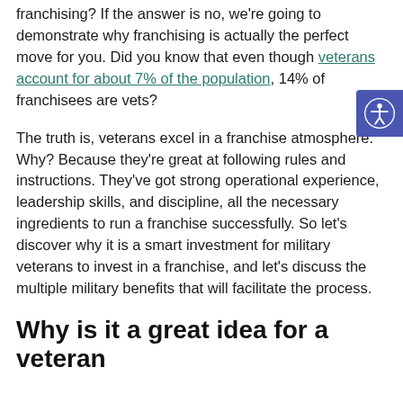franchising? If the answer is no, we're going to demonstrate why franchising is actually the perfect move for you. Did you know that even though veterans account for about 7% of the population, 14% of franchisees are vets?
The truth is, veterans excel in a franchise atmosphere. Why? Because they're great at following rules and instructions. They've got strong operational experience, leadership skills, and discipline, all the necessary ingredients to run a franchise successfully. So let's discover why it is a smart investment for military veterans to invest in a franchise, and let's discuss the multiple military benefits that will facilitate the process.
Why is it a great idea for a veteran